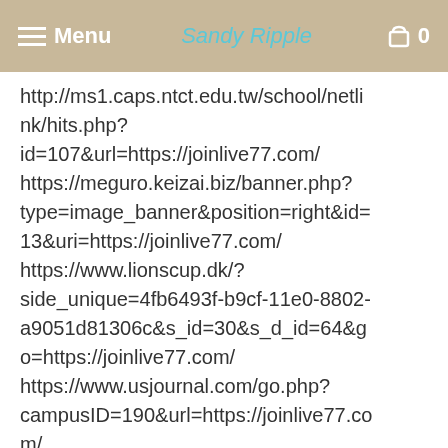Menu  Sandy Ripple  0
http://ms1.caps.ntct.edu.tw/school/netlink/hits.php?id=107&url=https://joinlive77.com/
https://meguro.keizai.biz/banner.php?type=image_banner&position=right&id=13&uri=https://joinlive77.com/
https://www.lionscup.dk/?side_unique=4fb6493f-b9cf-11e0-8802-a9051d81306c&s_id=30&s_d_id=64&go=https://joinlive77.com/
https://www.usjournal.com/go.php?campusID=190&url=https://joinlive77.com/
https://www.winnipegfreepress.com/s?action=doLogout&rurl=https://joinlive77